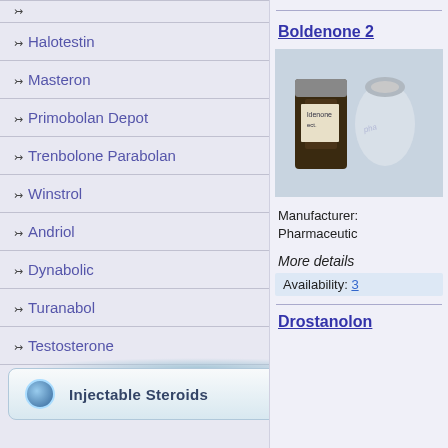Halotestin
Masteron
Primobolan Depot
Trenbolone Parabolan
Winstrol
Andriol
Dynabolic
Turanabol
Testosterone
Injectable Steroids
Boldenone 2
[Figure (photo): Photo of Boldenone pharmaceutical vials and bottles]
Manufacturer: Pharmaceutic
More details
Availability: 3
Drostanolon